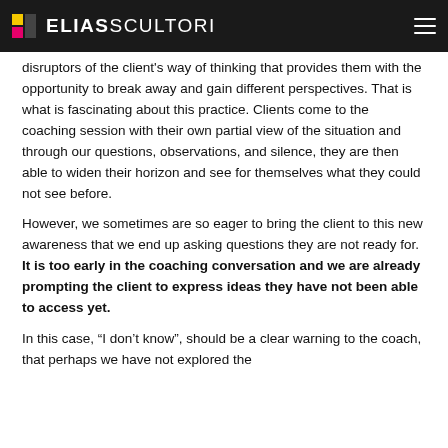ELIAS SCULPTORI
disruptors of the client's way of thinking that provides them with the opportunity to break away and gain different perspectives. That is what is fascinating about this practice. Clients come to the coaching session with their own partial view of the situation and through our questions, observations, and silence, they are then able to widen their horizon and see for themselves what they could not see before.
However, we sometimes are so eager to bring the client to this new awareness that we end up asking questions they are not ready for. It is too early in the coaching conversation and we are already prompting the client to express ideas they have not been able to access yet.
In this case, “I don’t know”, should be a clear warning to the coach, that perhaps we have not explored the